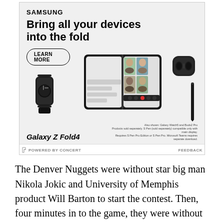[Figure (illustration): Samsung advertisement for Galaxy Z Fold4. Shows Samsung logo, headline 'Bring all your devices into the fold', a 'LEARN MORE' button, product images of Galaxy Z Fold4 with Galaxy Watch5 and Buds2 Pro, and fine print. Footer reads 'POWERED BY CONCERT' and 'FEEDBACK'.]
The Denver Nuggets were without star big man Nikola Jokic and University of Memphis product Will Barton to start the contest. Then, four minutes in to the game, they were without starting point guard Jameer Nelson, who was ejected after two quick technical fouls. Memphis took advantage, as they had a five-point lead halfway through the period. Marc Gasol, JaMychal Green, Mike Conley, and Zach Randolph led the way